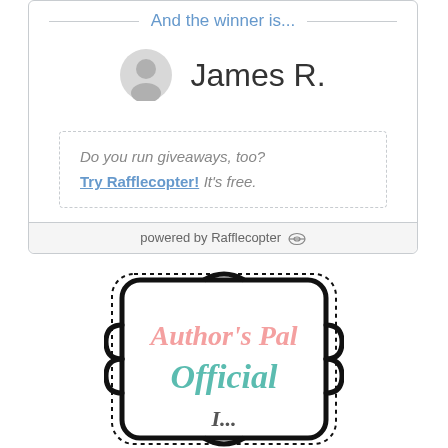And the winner is...
James R.
Do you run giveaways, too? Try Rafflecopter! It's free.
powered by Rafflecopter
[Figure (logo): Author's Pal Official logo in decorative frame with dotted border, pink and teal script text]